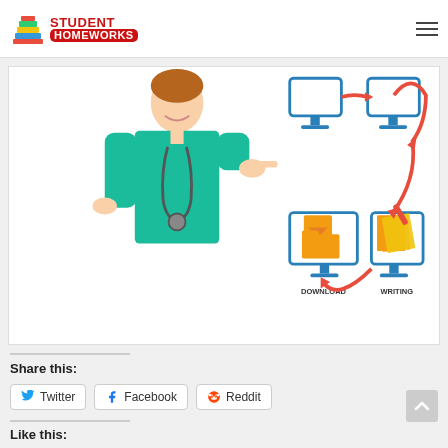Student Homeworks
[Figure (illustration): A nurse or medical professional in teal scrubs with a stethoscope pointing to a diagram showing a computer workflow cycle with DOWNLOAD and WRITING labels connected by red arrows in a cycle.]
Share this:
Twitter
Facebook
Reddit
Like this: